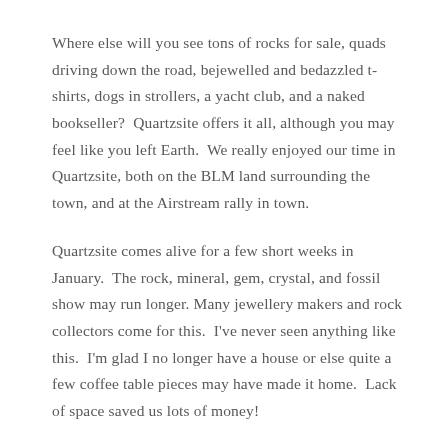Where else will you see tons of rocks for sale, quads driving down the road, bejewelled and bedazzled t-shirts, dogs in strollers, a yacht club, and a naked bookseller?  Quartzsite offers it all, although you may feel like you left Earth.  We really enjoyed our time in Quartzsite, both on the BLM land surrounding the town, and at the Airstream rally in town.
Quartzsite comes alive for a few short weeks in January.  The rock, mineral, gem, crystal, and fossil show may run longer. Many jewellery makers and rock collectors come for this.  I've never seen anything like this.  I'm glad I no longer have a house or else quite a few coffee table pieces may have made it home.  Lack of space saved us lots of money!